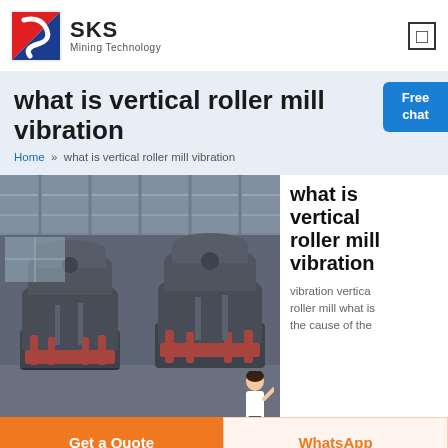[Figure (logo): SKS Mining Technology logo with red and blue geometric icon]
what is vertical roller mill vibration
Home » what is vertical roller mill vibration
[Figure (photo): Industrial vertical roller mills (cone crushers) in a factory setting, black metal machines with red hydraulic cylinders]
what is vertical roller mill vibration
vibration vertical roller mill what is the cause of the
Get a Quote
WhatsApp